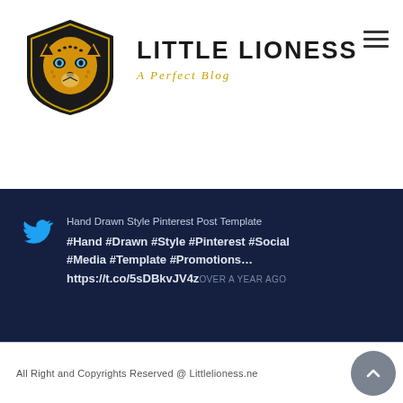Little Lioness — A Perfect Blog
[Figure (logo): Little Lioness cheetah head logo in shield shape, gold and black colors, with blue eyes]
LITTLE LIONESS
A Perfect Blog
Hand Drawn Style Pinterest Post Template
#Hand #Drawn #Style #Pinterest #Social
#Media #Template #Promotions…
https://t.co/5sDBkvJV4z OVER A YEAR AGO
All Right and Copyrights Reserved @ Littlelioness.ne